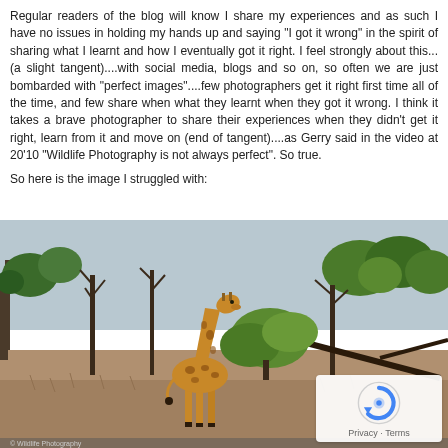Regular readers of the blog will know I share my experiences and as such I have no issues in holding my hands up and saying "I got it wrong" in the spirit of sharing what I learnt and how I eventually got it right. I feel strongly about this...(a slight tangent)....with social media, blogs and so on, so often we are just bombarded with "perfect images"....few photographers get it right first time all of the time, and few share when what they learnt when they got it wrong. I think it takes a brave photographer to share their experiences when they didn't get it right, learn from it and move on (end of tangent)....as Gerry said in the video at 20'10 "Wildlife Photography is not always perfect". So true.
So here is the image I struggled with:
[Figure (photo): A giraffe standing in a dry African savanna landscape, leaning toward a small green bush. Background shows sparse dry trees and scrubland under a pale sky.]